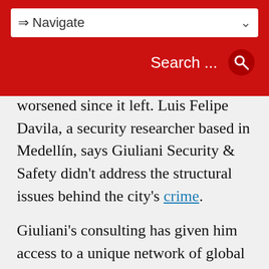⇒ Navigate
worsened since it left. Luis Felipe Davila, a security researcher based in Medellín, says Giuliani Security & Safety didn't address the structural issues behind the city's crime.
Giuliani's consulting has given him access to a unique network of global politicians, some of whom sought his advice when Trump won the presidency. He's kept close ties with Juan Manuel Santos, Colombia's president when Trump was elected, which may have come in handy when the Colombian government was looking for guidance on what to expect from the new administration. In November 2016, two days after the presidential election, Giuliani spoke